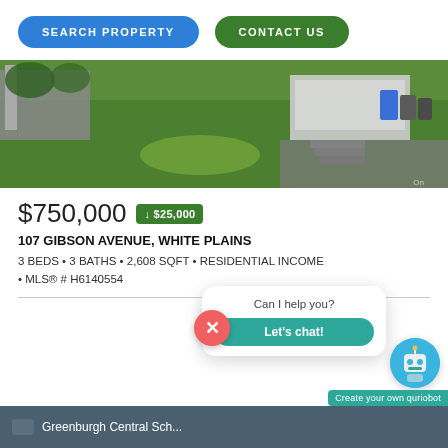[Figure (screenshot): Navigation bar with SEARCH PROPERTY (blue pill button) and CONTACT US (green pill button)]
[Figure (photo): Exterior photo of property showing green lawn, driveway with steps, garage, and trash bins]
$750,000  ↓ $25,000
107 GIBSON AVENUE, WHITE PLAINS
3 BEDS • 3 BATHS • 2,608 SQFT • RESIDENTIAL INCOME • MLS® # H6140554
[Figure (screenshot): Chatbot widget: X close button (pink), speech bubble with Can I help you? text, Let's chat! teal button, robot avatar icon, Create your own quriobot label]
[Figure (screenshot): Footer bar showing Greenburgh Central Sch... text on dark teal/grey background]